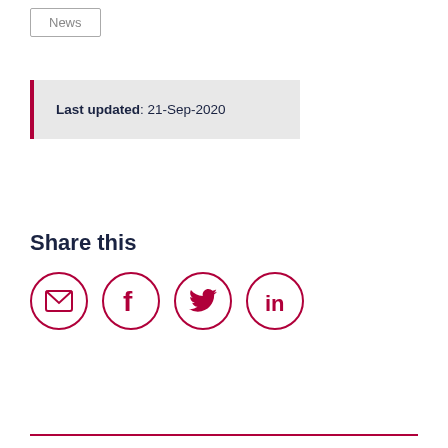News
Last updated: 21-Sep-2020
Share this
[Figure (infographic): Four social sharing icons in red circles: email envelope, Facebook f, Twitter bird, LinkedIn in]